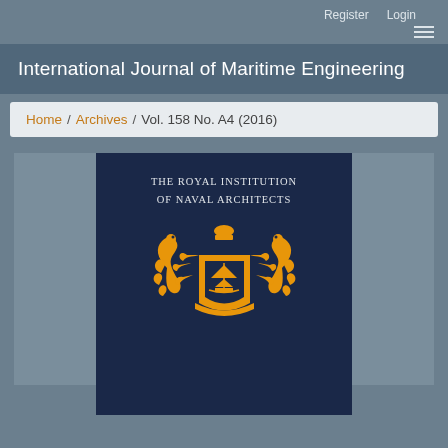Register   Login
International Journal of Maritime Engineering
Home / Archives / Vol. 158 No. A4 (2016)
[Figure (illustration): Cover image of the International Journal of Maritime Engineering Vol. 158 No. A4 (2016), published by The Royal Institution of Naval Architects. Dark navy blue background with gold/amber heraldic crest featuring sea horses, a sailing ship, and a crown with a sail.]